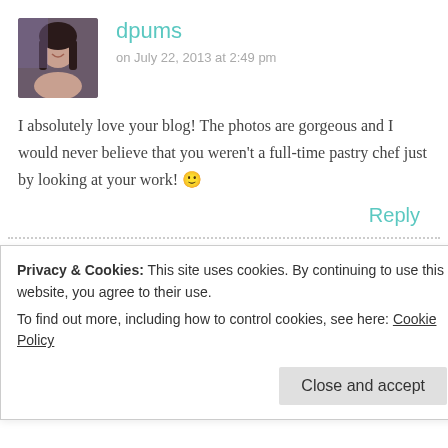[Figure (photo): Avatar photo of user dpums - a young woman with dark hair smiling]
dpums
on July 22, 2013 at 2:49 pm
I absolutely love your blog! The photos are gorgeous and I would never believe that you weren't a full-time pastry chef just by looking at your work! 🙂
Reply
[Figure (photo): Avatar photo of user Ev - a chocolate cake with candles on top, shown in a teal-bordered square]
Ev
on July 22, 2013 at 0:28 pm
Privacy & Cookies: This site uses cookies. By continuing to use this website, you agree to their use.
To find out more, including how to control cookies, see here: Cookie Policy
Close and accept